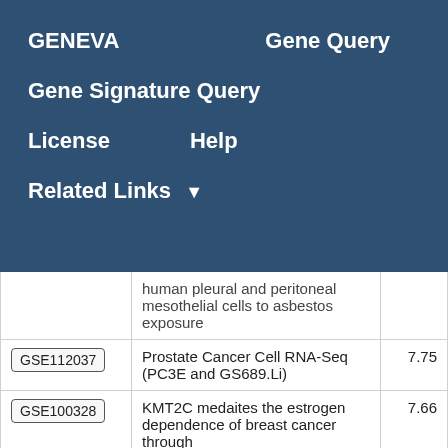GENEVA   Gene Query
Gene Signature Query
License   Help
Related Links ▼
|  | Description | Score |
| --- | --- | --- |
|  | human pleural and peritoneal mesothelial cells to asbestos exposure |  |
| GSE112037 | Prostate Cancer Cell RNA-Seq (PC3E and GS689.Li) | 7.75 |
| GSE100328 | KMT2C medaites the estrogen dependence of breast cancer through | 7.66 |